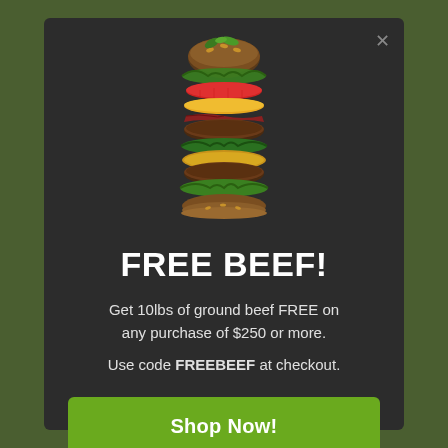[Figure (photo): Exploded/deconstructed burger with bun, patties, lettuce, tomato, cheese, and greens floating vertically against dark background]
FREE BEEF!
Get 10lbs of ground beef FREE on any purchase of $250 or more.
Use code FREEBEEF at checkout.
Shop Now!